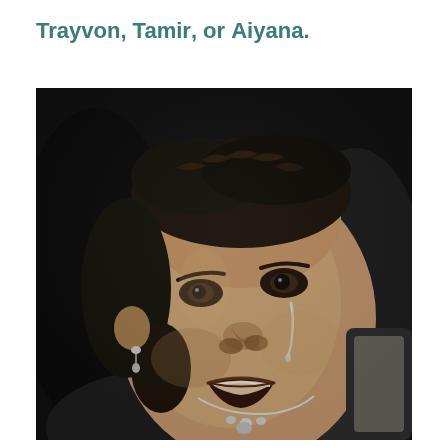Trayvon, Tamir, or Aiyana.
[Figure (photo): Black and white photograph of a woman with braided hair and a diamond necklace, with tears streaming down her face, mouth open as if speaking or crying, wearing dark clothing.]